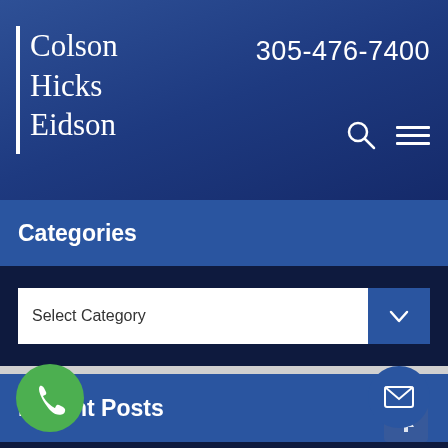[Figure (logo): Colson Hicks Eidson law firm logo with white vertical bar and serif text]
305-476-7400
Categories
Select Category
Recent Posts
Camp Lejeune Lawsuits & The Honoring Our PACT Act: Essential Information
Stretch of Highway In Florida May Be Most Dangerous For Pedestrians
Crash Landing at Miami International Airport